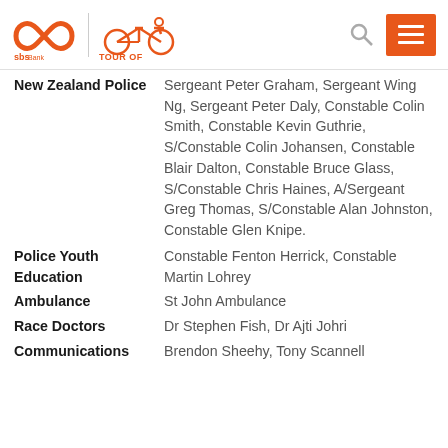SBS Tour of Southland
New Zealand Police Sergeant Peter Graham, Sergeant Wing Ng, Sergeant Peter Daly, Constable Colin Smith, Constable Kevin Guthrie, S/Constable Colin Johansen, Constable Blair Dalton, Constable Bruce Glass, S/Constable Chris Haines, A/Sergeant Greg Thomas, S/Constable Alan Johnston, Constable Glen Knipe.
Police Youth Education Constable Fenton Herrick, Constable Martin Lohrey
Ambulance St John Ambulance
Race Doctors Dr Stephen Fish, Dr Ajti Johri
Communications Brendon Sheehy, Tony Scannell